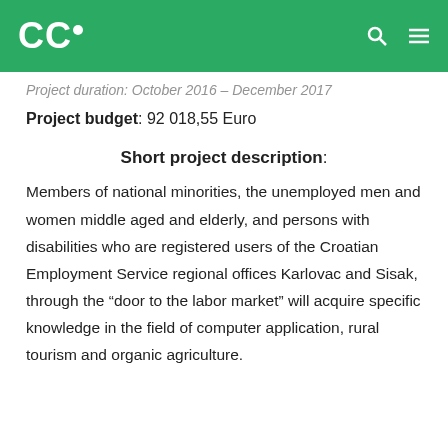CCI
Project duration: October 2016 – December 2017
Project budget: 92 018,55 Euro
Short project description:
Members of national minorities, the unemployed men and women middle aged and elderly, and persons with disabilities who are registered users of the Croatian Employment Service regional offices Karlovac and Sisak, through the “door to the labor market” will acquire specific knowledge in the field of computer application, rural tourism and organic agriculture.